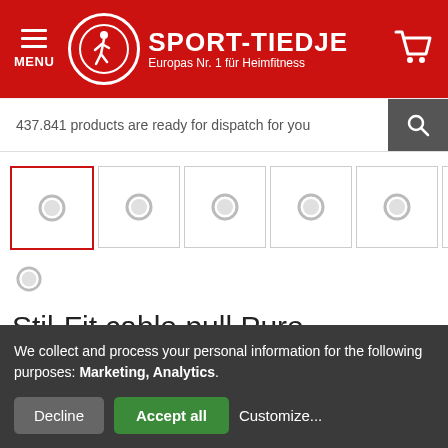[Figure (logo): Sport-Tiedje logo with red background, white circle with running person icon, white text SPORT-TIEDJE, Europas Nr. 1 für Heimfitness]
437.841 products are ready for dispatch for you
[Figure (photo): Row of 5 thumbnail image placeholders with loading spinners, first one has red border indicating selection, plus a partial sixth thumbnail]
[Figure (photo): Single thumbnail placeholder with loading spinner below the row]
Stil-Fit cable pull Pure
We collect and process your personal information for the following purposes: Marketing, Analytics.
Decline  Accept all  Customize...